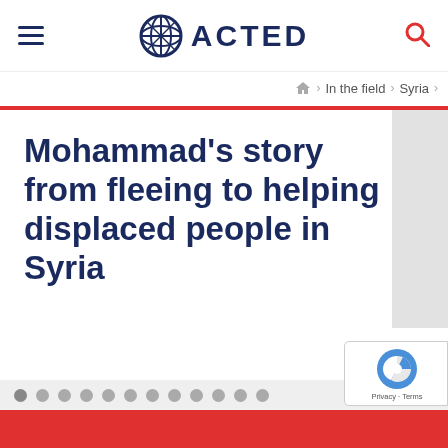ACTED
In the field › Syria
Mohammad's story from fleeing to helping displaced people in Syria